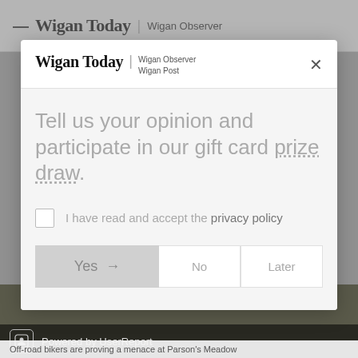Wigan Today | Wigan Observer
[Figure (screenshot): Modal dialog from Wigan Today website with survey prompt]
Wigan Today | Wigan Observer
Wigan Post
Tell us your opinion and participate in our gift card prize draw.
I have read and accept the privacy policy
Yes → No Later
Powered by UserReport
Off-road bikers are proving a menace at Parson's Meadow